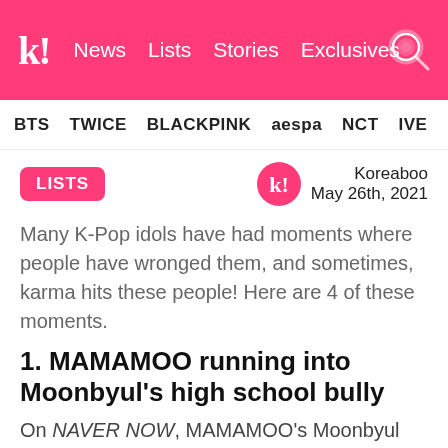k! News  Lists  Stories  Exclusives
BTS  TWICE  BLACKPINK  aespa  NCT  IVE  SHIN
LISTS
Koreaboo
May 26th, 2021
Many K-Pop idols have had moments where people have wronged them, and sometimes, karma hits these people! Here are 4 of these moments.
1. MAMAMOO running into Moonbyul's high school bully
On NAVER NOW, MAMAMOO's Moonbyul spoke about what her members did when they ran into her high school bully on the streets.